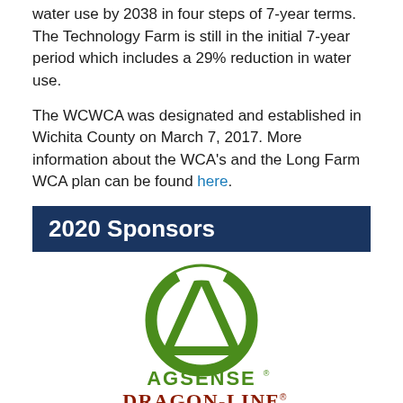water use by 2038 in four steps of 7-year terms. The Technology Farm is still in the initial 7-year period which includes a 29% reduction in water use.
The WCWCA was designated and established in Wichita County on March 7, 2017. More information about the WCA's and the Long Farm WCA plan can be found here.
2020 Sponsors
[Figure (logo): AgSense company logo — green circular arrow with triangle/A shape inside, and AGSENSE text below in green]
[Figure (logo): Dragon-Line company logo text in stylized red/brown font]
[Figure (logo): Golden Harvest company logo with green flame/leaf icon and GoldenHarvest text]